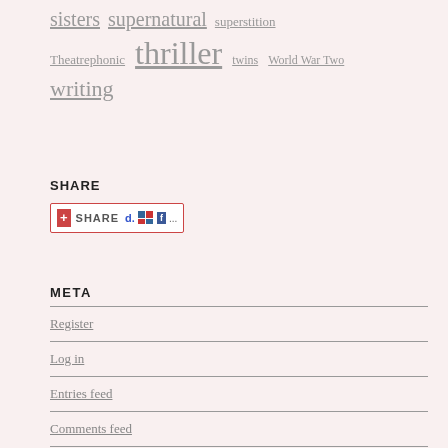sisters supernatural superstition Theatrephonic thriller twins World War Two writing
SHARE
[Figure (other): Social share button widget showing share icons including del.icio.us, Digg, and Facebook]
META
Register
Log in
Entries feed
Comments feed